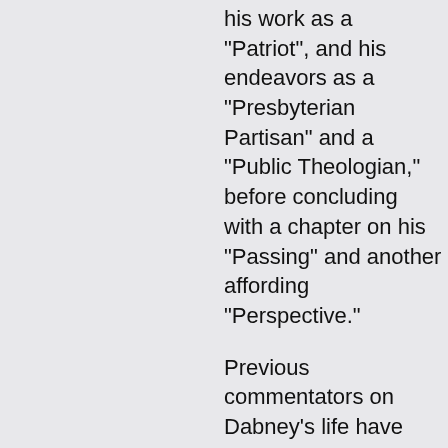his work as a "Patriot", and his endeavors as a "Presbyterian Partisan" and a "Public Theologian," before concluding with a chapter on his "Passing" and another affording "Perspective."
Previous commentators on Dabney's life have either demonized him or canonized him. But Lucas manages to avoid either extreme. He rightly recognizes that Dabney's doctrine of the spirituality of the church was a genuine ecclesiological and intellectual commitment, not merely an expedient devised to evade